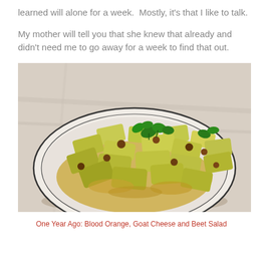learned will alone for a week.  Mostly, it's that I like to talk.
My mother will tell you that she knew that already and didn't need me to go away for a week to find that out.
[Figure (photo): A white ceramic bowl filled with chopped yellow-green vegetable pieces (kohlrabi or similar), garnished with fresh green herbs and scattered with small brown nuts, in a golden-tinged sauce, placed on a light marble surface.]
One Year Ago: Blood Orange, Goat Cheese and Beet Salad